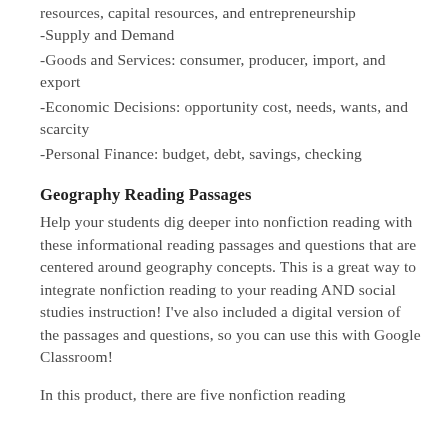resources, capital resources, and entrepreneurship
-Supply and Demand
-Goods and Services: consumer, producer, import, and export
-Economic Decisions: opportunity cost, needs, wants, and scarcity
-Personal Finance: budget, debt, savings, checking
Geography Reading Passages
Help your students dig deeper into nonfiction reading with these informational reading passages and questions that are centered around geography concepts. This is a great way to integrate nonfiction reading to your reading AND social studies instruction! I've also included a digital version of the passages and questions, so you can use this with Google Classroom!
In this product, there are five nonfiction reading